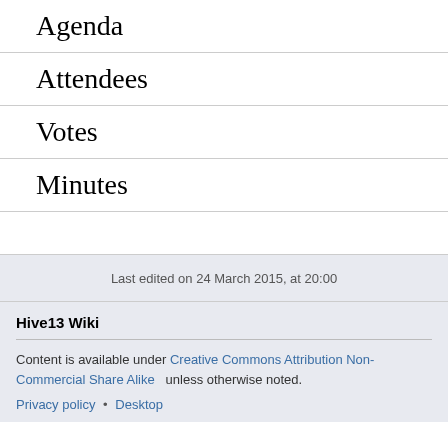Agenda
Attendees
Votes
Minutes
Last edited on 24 March 2015, at 20:00
Hive13 Wiki
Content is available under Creative Commons Attribution Non-Commercial Share Alike unless otherwise noted.
Privacy policy • Desktop